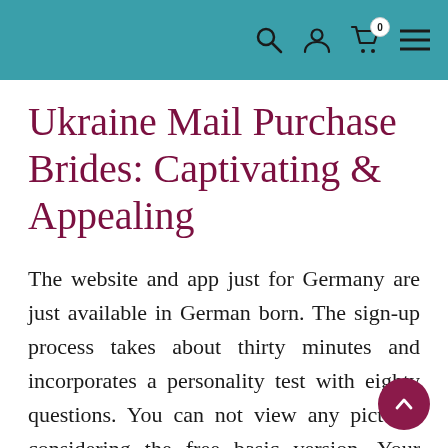Navigation bar with search, user, cart (0), and menu icons
Ukraine Mail Purchase Brides: Captivating & Appealing
The website and app just for Germany are just available in German born. The sign-up process takes about thirty minutes and incorporates a personality test with eighty questions. You can not view any pictures considering the free basic version. Your own personal matchmaker will probably be far